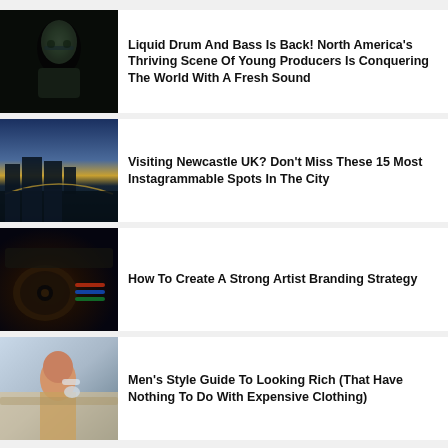[Figure (photo): Dark portrait photo of a person with glasses in dim lighting]
Liquid Drum And Bass Is Back! North America's Thriving Scene Of Young Producers Is Conquering The World With A Fresh Sound
[Figure (photo): Night cityscape photo of Newcastle UK with bridge reflection on water]
Visiting Newcastle UK? Don't Miss These 15 Most Instagrammable Spots In The City
[Figure (photo): Photo of DJ equipment/turntables in colorful lighting]
How To Create A Strong Artist Branding Strategy
[Figure (photo): Photo of a bearded man in a cafe/office setting holding a coffee cup]
Men's Style Guide To Looking Rich (That Have Nothing To Do With Expensive Clothing)